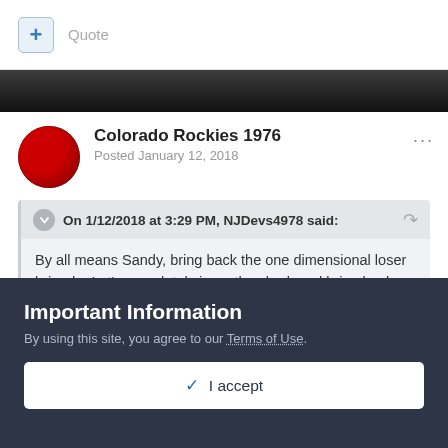[Figure (screenshot): Forum UI with a Quote button (+ icon) and quote text label]
[Figure (photo): Dark banner image strip across the page]
Colorado Rockies 1976
Posted January 12, 2018
On 1/12/2018 at 3:29 PM, NJDevs4978 said:
By all means Sandy, bring back the one dimensional loser brigade. Let's completely jump the shark and bring back Reyes and Walker too while we're at it.
Important Information
By using this site, you agree to our Terms of Use.
✓  I accept